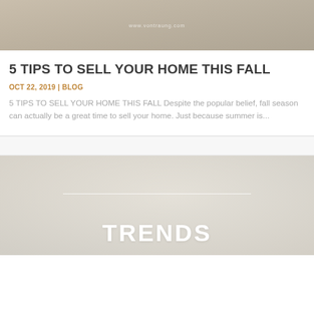[Figure (photo): Top image showing a building exterior with autumn foliage, partially visible website URL text overlay]
5 TIPS TO SELL YOUR HOME THIS FALL
OCT 22, 2019 | BLOG
5 TIPS TO SELL YOUR HOME THIS FALL Despite the popular belief, fall season can actually be a great time to sell your home. Just because summer is...
[Figure (photo): Bottom image with light floral/plant background and large white text reading TRENDS]